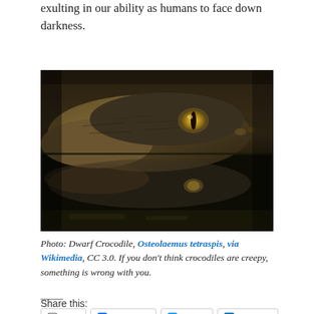exulting in our ability as humans to face down darkness.
[Figure (photo): Close-up photograph of a Dwarf Crocodile (Osteolaemus tetraspis) with its head at water level, showing reflection in dark water. Dark, dramatic lighting with detailed scales and yellow eye visible.]
Photo: Dwarf Crocodile, Osteolaemus tetraspis, via Wikimedia, CC 3.0. If you don't think crocodiles are creepy, something is wrong with you.
Share this:
Print
Facebook
Twitter
LinkedIn